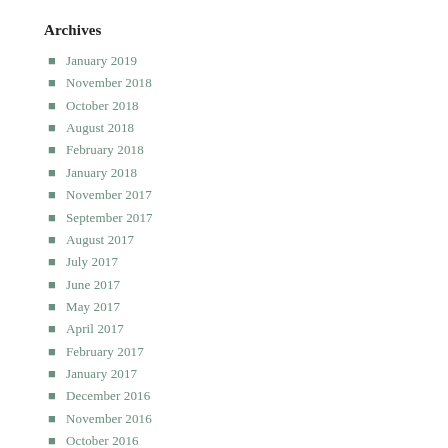Archives
January 2019
November 2018
October 2018
August 2018
February 2018
January 2018
November 2017
September 2017
August 2017
July 2017
June 2017
May 2017
April 2017
February 2017
January 2017
December 2016
November 2016
October 2016
September 2016
August 2016
July 2016
June 2016
May 2016